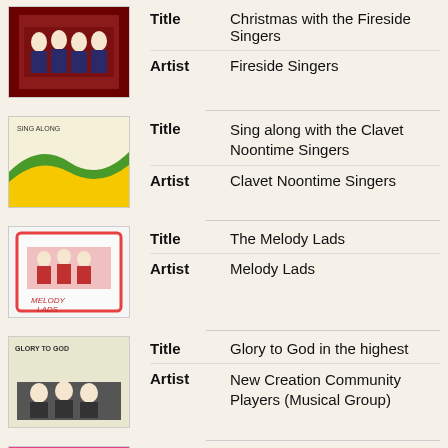Title: Christmas with the Fireside Singers | Artist: Fireside Singers
Title: Sing along with the Clavet Noontime Singers | Artist: Clavet Noontime Singers
Title: The Melody Lads | Artist: Melody Lads
Title: Glory to God in the highest | Artist: New Creation Community Players (Musical Group)
Title: The Hewettes sing